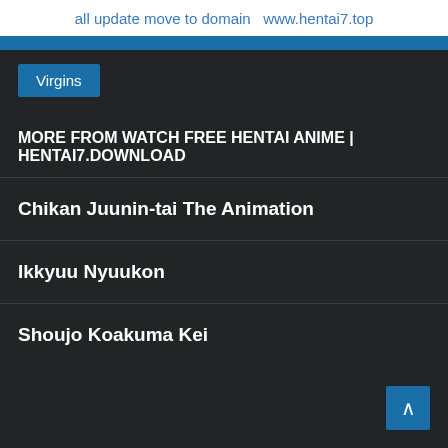all update move to domain  www.hentai7.top
Virgins
MORE FROM WATCH FREE HENTAI ANIME | HENTAI7.DOWNLOAD
Chikan Juunin-tai The Animation
Ikkyuu Nyuukon
Shoujo Koakuma Kei